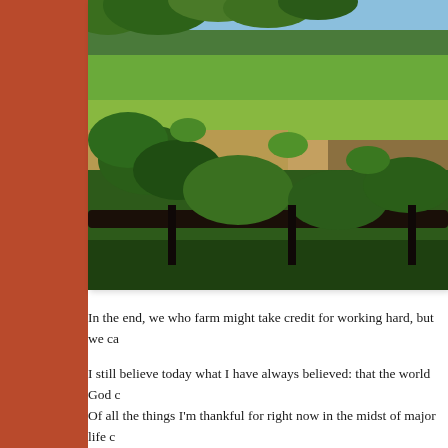[Figure (photo): Outdoor photo of a farm field with green leafy plants in the foreground, a wooden fence rail in the lower portion, and rows of crops extending into the background under a blue sky with trees.]
In the end, we who farm might take credit for working hard, but we ca
I still believe today what I have always believed: that the world God c Of all the things I'm thankful for right now in the midst of major life c I'm still running my race. I'm beginning to think that in times as uncer walking with God feels not so lonely, the goodness of his friend bl